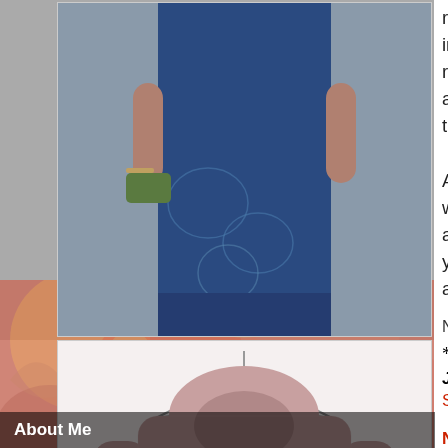[Figure (photo): Photo of a woman wearing a navy blue floral-print dress, holding a green clutch bag. Below it, a product photo of a pink/mauve fuzzy hooded button-front coat on a hanger. Below the coat image is the Berrylook cursive logo in black.]
About Me
research needed, but nothing in quick time. You have the ability to require and desire into your life, and be grateful for the blessings, to share your good fortune with...
Awaken to your higher, inner-[self] within the depths of your being, activating it and letting it out. [B]... you are free to make your own... and talents that make you uni[que]...
Number 1887 relates to number 6 (1+8+8...
*
Joanne
Sacred Scribes
NUMEROLOGY  -  The Vibration and En[ergy]...